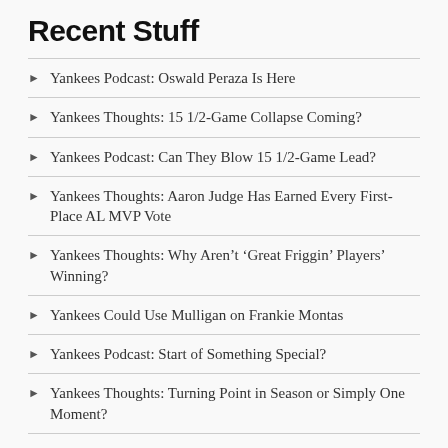Recent Stuff
Yankees Podcast: Oswald Peraza Is Here
Yankees Thoughts: 15 1/2-Game Collapse Coming?
Yankees Podcast: Can They Blow 15 1/2-Game Lead?
Yankees Thoughts: Aaron Judge Has Earned Every First-Place AL MVP Vote
Yankees Thoughts: Why Aren't 'Great Friggin' Players' Winning?
Yankees Could Use Mulligan on Frankie Montas
Yankees Podcast: Start of Something Special?
Yankees Thoughts: Turning Point in Season or Simply One Moment?
Yankees Podcast: Another Day, Another Loss
Aaron Boone Guarantees Yankees ‘Will Recover’